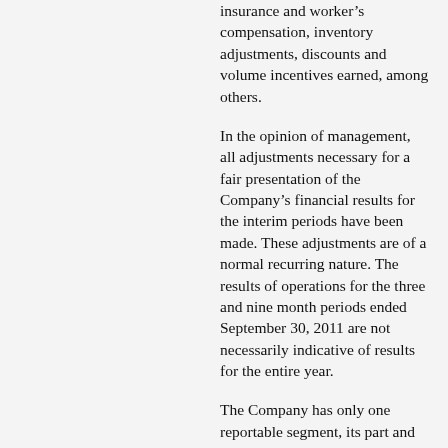insurance and worker's compensation, inventory adjustments, discounts and volume incentives earned, among others.
In the opinion of management, all adjustments necessary for a fair presentation of the Company's financial results for the interim periods have been made. These adjustments are of a normal recurring nature. The results of operations for the three and nine month periods ended September 30, 2011 are not necessarily indicative of results for the entire year.
The Company has only one reportable segment, its part and